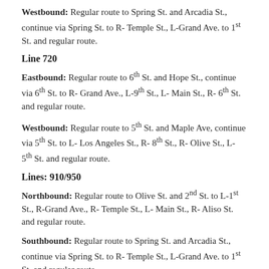Westbound: Regular route to Spring St. and Arcadia St., continue via Spring St. to R- Temple St., L-Grand Ave. to 1st St. and regular route.
Line 720
Eastbound: Regular route to 6th St. and Hope St., continue via 6th St. to R- Grand Ave., L-9th St., L- Main St., R- 6th St. and regular route.
Westbound: Regular route to 5th St. and Maple Ave, continue via 5th St. to L- Los Angeles St., R- 8th St., R- Olive St., L- 5th St. and regular route.
Lines: 910/950
Northbound: Regular route to Olive St. and 2nd St. to L-1st St., R-Grand Ave., R- Temple St., L- Main St., R- Aliso St. and regular route.
Southbound: Regular route to Spring St. and Arcadia St., continue via Spring St. to R- Temple St., L-Grand Ave. to 1st St. and regular route.